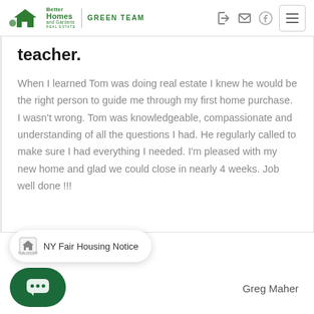Better Homes and Gardens Real Estate | GREEN TEAM
teacher.
When I learned Tom was doing real estate I knew he would be the right person to guide me through my first home purchase. I wasn't wrong. Tom was knowledgeable, compassionate and understanding of all the questions I had. He regularly called to make sure I had everything I needed. I'm pleased with my new home and glad we could close in nearly 4 weeks. Job well done !!!
NY Fair Housing Notice
Greg Maher